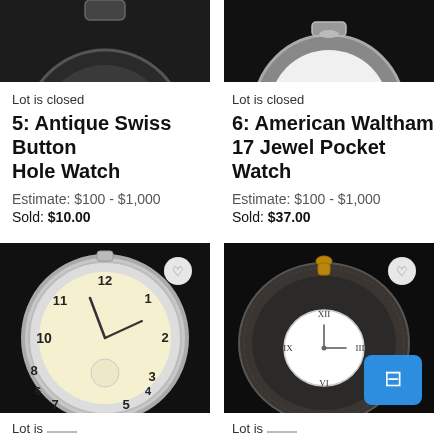[Figure (photo): Top portion of a dark antique watch, cropped]
Lot is closed
5: Antique Swiss Button Hole Watch
Estimate: $100 - $1,000
Sold: $10.00
[Figure (photo): Top portion of American Waltham pocket watch, chrome case, cropped]
Lot is closed
6: American Waltham 17 Jewel Pocket Watch
Estimate: $100 - $1,000
Sold: $37.00
[Figure (photo): Elgin open-face silver pocket watch with cream dial showing Arabic numerals]
[Figure (photo): Dark antique hunter-case pocket watch with white enamel dial and Roman numerals, with chat button overlay]
Lot is closed
Lot is closed